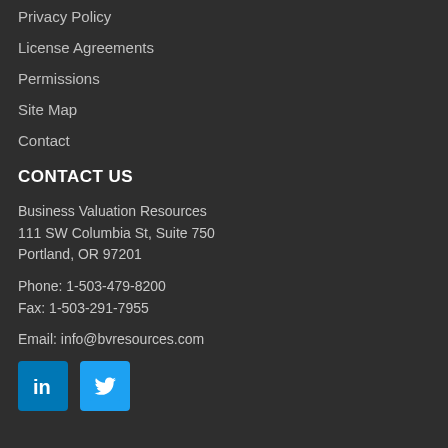Privacy Policy
License Agreements
Permissions
Site Map
Contact
CONTACT US
Business Valuation Resources
111 SW Columbia St, Suite 750
Portland, OR 97201
Phone: 1-503-479-8200
Fax: 1-503-291-7955
Email: info@bvresources.com
[Figure (logo): LinkedIn and Twitter social media icons]